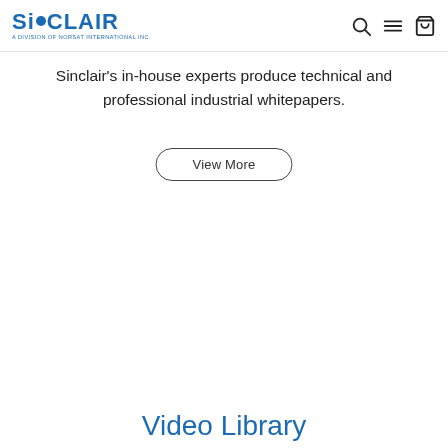SINCLAIR — A Division of Norsat International Inc. [logo with nav icons]
Sinclair's in-house experts produce technical and professional industrial whitepapers.
View More
Video Library